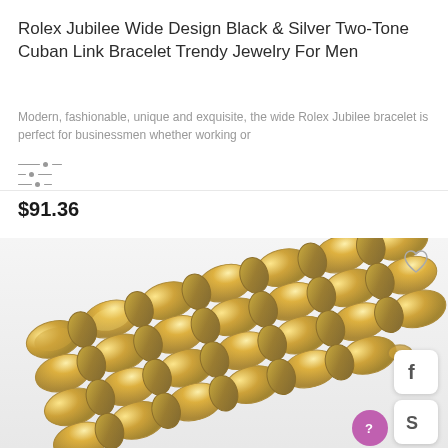Rolex Jubilee Wide Design Black & Silver Two-Tone Cuban Link Bracelet Trendy Jewelry For Men
Modern, fashionable, unique and exquisite, the wide Rolex Jubilee bracelet is perfect for businessmen whether working or
$91.36
[Figure (photo): Gold-tone Rolex Jubilee style wide link bracelet photographed close-up showing detailed link pattern]